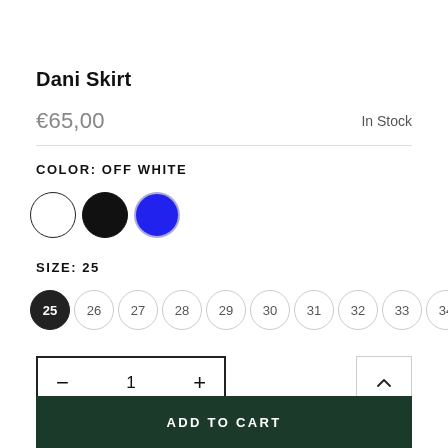Dani Skirt
€65,00   In Stock
COLOR: OFF WHITE
[Figure (illustration): Three color swatches: white circle with black border (selected), black filled circle, blue filled circle with light blue border]
SIZE: 25
[Figure (illustration): Row of size selector circles: 25 (selected, dark background), 26, 27, 28, 29, 30, 31, 32, 33, 34]
- 1 +
ADD TO CART